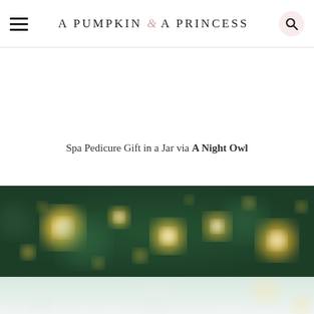A Pumpkin & A Princess
Spa Pedicure Gift in a Jar via A Night Owl
[Figure (photo): Blurred bokeh lights on dark green background, resembling Christmas tree lights out of focus]
[Figure (photo): Light blurred background with soft golden bokeh, lighter grey-white tones at bottom]